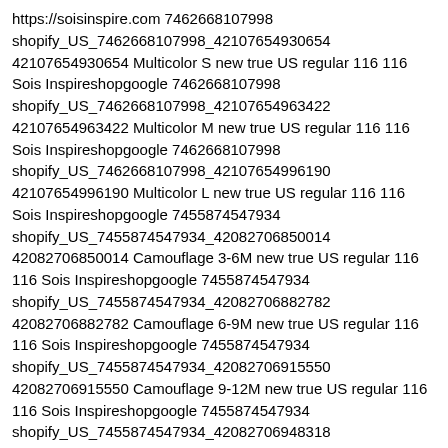https://soisinspire.com 7462668107998 shopify_US_7462668107998_42107654930654 42107654930654 Multicolor S new true US regular 116 116 Sois Inspireshopgoogle 7462668107998 shopify_US_7462668107998_42107654963422 42107654963422 Multicolor M new true US regular 116 116 Sois Inspireshopgoogle 7462668107998 shopify_US_7462668107998_42107654996190 42107654996190 Multicolor L new true US regular 116 116 Sois Inspireshopgoogle 7455874547934 shopify_US_7455874547934_42082706850014 42082706850014 Camouflage 3-6M new true US regular 116 116 Sois Inspireshopgoogle 7455874547934 shopify_US_7455874547934_42082706882782 42082706882782 Camouflage 6-9M new true US regular 116 116 Sois Inspireshopgoogle 7455874547934 shopify_US_7455874547934_42082706915550 42082706915550 Camouflage 9-12M new true US regular 116 116 Sois Inspireshopgoogle 7455874547934 shopify_US_7455874547934_42082706948318 42082706948318 Camouflage 12-18M new true US regular 116 116 Sois Inspireshopgoogle 7455873794270 shopify_US_7455873794270_42082703343838 42082703343838 Blue 3-6M new true US regular 116 116 Sois Inspireshopgoogle 7455873794270 shopify_US_7455873794270_42082703376606 42082703376606 Blue 6-9M new true US regular 116 116 Sois Inspireshopgoogle 7455873794270